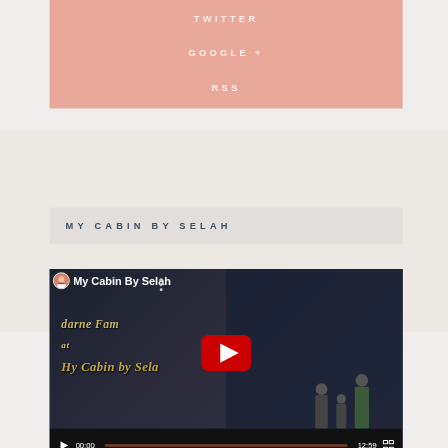TWITTER
GOOGLE +
RSS
MY CABIN BY SELAH
[Figure (screenshot): YouTube video embed showing 'My Cabin By Selah' with a family photo thumbnail, play button, channel avatar, and video controls showing 00:00 / 12:59]